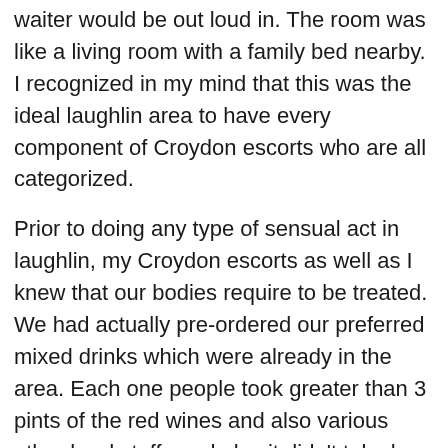waiter would be out loud in. The room was like a living room with a family bed nearby. I recognized in my mind that this was the ideal laughlin area to have every component of Croydon escorts who are all categorized.
Prior to doing any type of sensual act in laughlin, my Croydon escorts as well as I knew that our bodies require to be treated. We had actually pre-ordered our preferred mixed drinks which were already in the area. Each one people took greater than 3 pints of the red wines and also various other hard stuffs and also it didn't take long prior to we were all nude in the bed. I fucked all of the classified one after the one more with various other rounds. They licked my chest, penis and also I valued them by fucking asses. I could not bear in mind when we were all dead asleep resting on top of each various other anyhow.